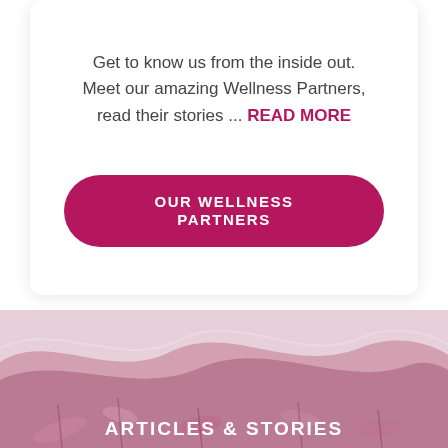Get to know us from the inside out. Meet our amazing Wellness Partners, read their stories ... READ MORE
OUR WELLNESS PARTNERS
[Figure (illustration): Decorative wave background with botanical/foliage imagery in muted pink and mauve tones]
ARTICLES & STORIES